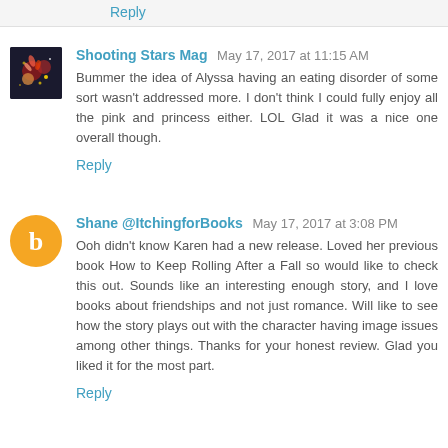Reply
Shooting Stars Mag  May 17, 2017 at 11:15 AM
Bummer the idea of Alyssa having an eating disorder of some sort wasn't addressed more. I don't think I could fully enjoy all the pink and princess either. LOL Glad it was a nice one overall though.
Reply
Shane @ItchingforBooks  May 17, 2017 at 3:08 PM
Ooh didn't know Karen had a new release. Loved her previous book How to Keep Rolling After a Fall so would like to check this out. Sounds like an interesting enough story, and I love books about friendships and not just romance. Will like to see how the story plays out with the character having image issues among other things. Thanks for your honest review. Glad you liked it for the most part.
Reply